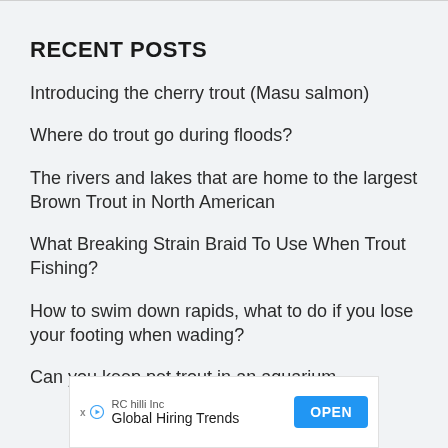RECENT POSTS
Introducing the cherry trout (Masu salmon)
Where do trout go during floods?
The rivers and lakes that are home to the largest Brown Trout in North American
What Breaking Strain Braid To Use When Trout Fishing?
How to swim down rapids, what to do if you lose your footing when wading?
Can you keep pet trout in an aquarium
[Figure (other): Advertisement banner for RC Hilli Inc - Global Hiring Trends with an OPEN button]